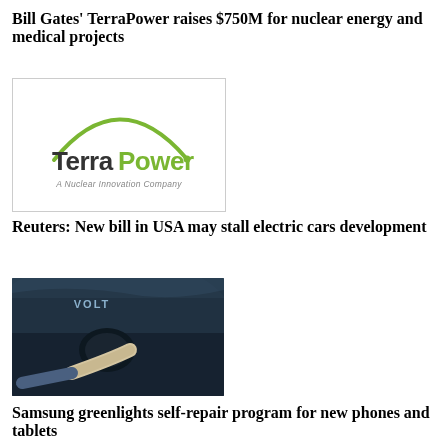[Figure (photo): Partially visible top-cropped image of an article at the very top of the page]
Bill Gates' TerraPower raises $750M for nuclear energy and medical projects
[Figure (logo): TerraPower logo — green arc above the wordmark 'TerraPower' with tagline 'A Nuclear Innovation Company', inside a white bordered box]
Reuters: New bill in USA may stall electric cars development
[Figure (photo): Photo of a Chevrolet Volt electric car charging port with a charging cable plugged in, dark blue car body]
Samsung greenlights self-repair program for new phones and tablets
[Figure (photo): Photo of a Samsung smartphone (top portion visible), dark blue/black device on a wooden surface with Samsung branding visible]